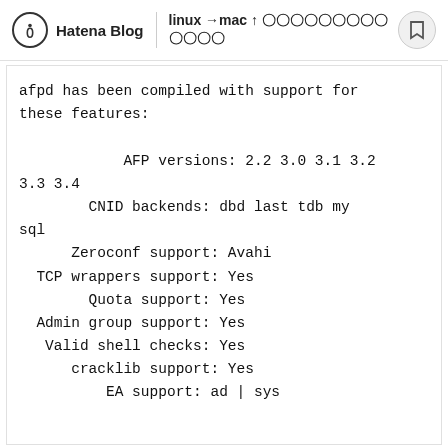Hatena Blog | linux→mac ↑ 〇〇〇〇〇〇〇〇〇〇〇〇〇
afpd has been compiled with support for these features:

            AFP versions: 2.2 3.0 3.1 3.2 3.3 3.4
        CNID backends: dbd last tdb my sql
      Zeroconf support: Avahi
  TCP wrappers support: Yes
        Quota support: Yes
  Admin group support: Yes
   Valid shell checks: Yes
      cracklib support: Yes
          EA support: ad | sys